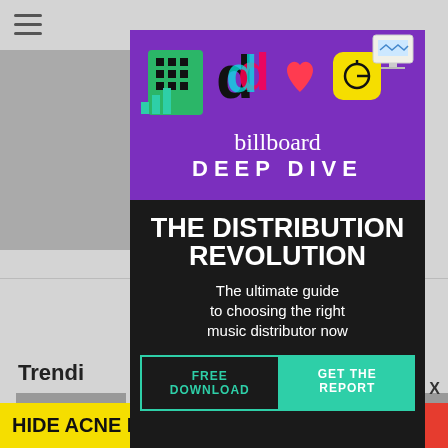[Figure (screenshot): Background webpage showing hamburger menu icon, greyed out article photos, trending section heading, and article thumbnails]
[Figure (infographic): Billboard Deep Dive advertisement modal overlay with purple top section showing social media icons and TikTok logo, billboard and deep dive text, black bottom section with 'THE DISTRIBUTION REVOLUTION' headline, subtitle text, and two CTA buttons]
THE DISTRIBUTION REVOLUTION
The ultimate guide to choosing the right music distributor now
FREE DOWNLOAD
GET THE REPORT
HIDE ACNE FOR $24
Trendi